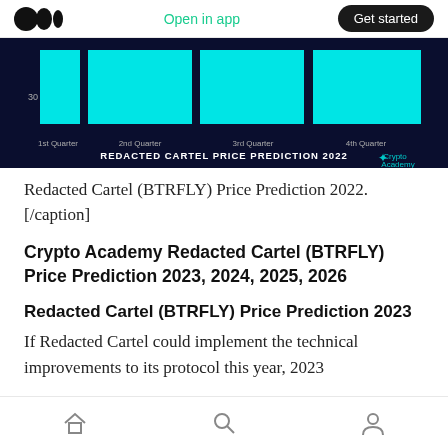Open in app | Get started
[Figure (bar-chart): Bar chart showing Redacted Cartel price prediction for 2022 by quarter (1st Quarter, 2nd Quarter, 3rd Quarter, 4th Quarter) on a dark navy background with cyan bars.]
Redacted Cartel (BTRFLY) Price Prediction 2022. [/caption]
Crypto Academy Redacted Cartel (BTRFLY) Price Prediction 2023, 2024, 2025, 2026
Redacted Cartel (BTRFLY) Price Prediction 2023
If Redacted Cartel could implement the technical improvements to its protocol this year, 2023
Home | Search | Profile